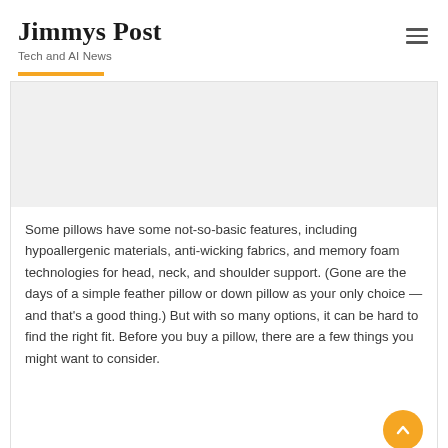Jimmys Post
Tech and AI News
[Figure (illustration): Decorative image area placeholder at top of article content box, shown as a light gray rectangle]
Some pillows have some not-so-basic features, including hypoallergenic materials, anti-wicking fabrics, and memory foam technologies for head, neck, and shoulder support. (Gone are the days of a simple feather pillow or down pillow as your only choice — and that's a good thing.) But with so many options, it can be hard to find the right fit. Before you buy a pillow, there are a few things you might want to consider.